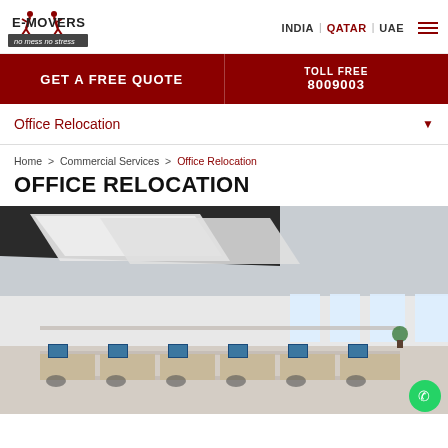E-MOVERS — no mess no stress | INDIA | QATAR | UAE
GET A FREE QUOTE
TOLL FREE 8009003
Office Relocation
Home > Commercial Services > Office Relocation
OFFICE RELOCATION
[Figure (photo): Modern open-plan office interior with rows of workstations, computer monitors, partition panels, overhead linear lighting, and large windows.]